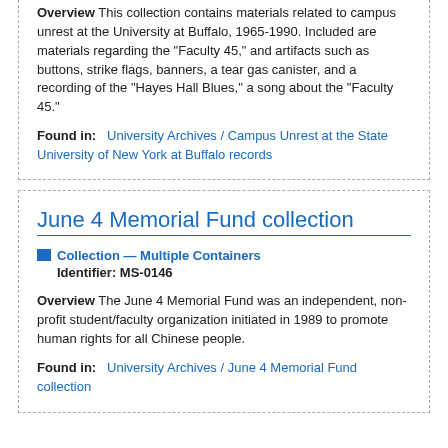Overview This collection contains materials related to campus unrest at the University at Buffalo, 1965-1990. Included are materials regarding the "Faculty 45," and artifacts such as buttons, strike flags, banners, a tear gas canister, and a recording of the "Hayes Hall Blues," a song about the "Faculty 45."
Found in: University Archives / Campus Unrest at the State University of New York at Buffalo records
June 4 Memorial Fund collection
Collection — Multiple Containers Identifier: MS-0146
Overview The June 4 Memorial Fund was an independent, non-profit student/faculty organization initiated in 1989 to promote human rights for all Chinese people.
Found in: University Archives / June 4 Memorial Fund collection